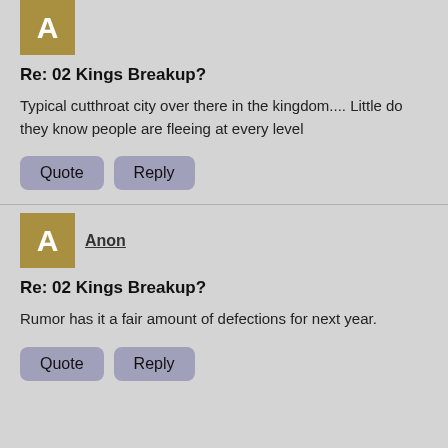Re: 02 Kings Breakup?
Typical cutthroat city over there in the kingdom.... Little do they know people are fleeing at every level
Quote  Reply
Anon
Re: 02 Kings Breakup?
Rumor has it a fair amount of defections for next year.
Quote  Reply